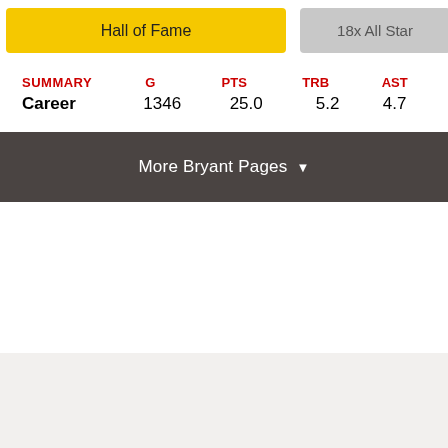Hall of Fame
18x All Star
24 +1
| SUMMARY | G | PTS | TRB | AST |
| --- | --- | --- | --- | --- |
| Career | 1346 | 25.0 | 5.2 | 4.7 |
More Bryant Pages ▼